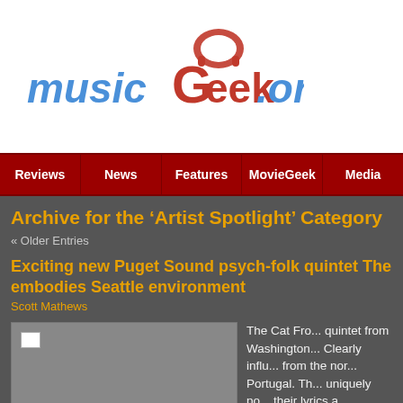[Figure (logo): musicGeek.org logo with headphones icon, blue and red stylized text]
Reviews | News | Features | MovieGeek | Media
Archive for the ‘Artist Spotlight’ Category
« Older Entries
Exciting new Puget Sound psych-folk quintet The Ca... embodies Seattle environment
Scott Mathews
[Figure (photo): Gray placeholder image for article]
The Cat Fro... quintet from Washington... Clearly influ... from the nor... Portugal. Th... uniquely po... their lyrics a...